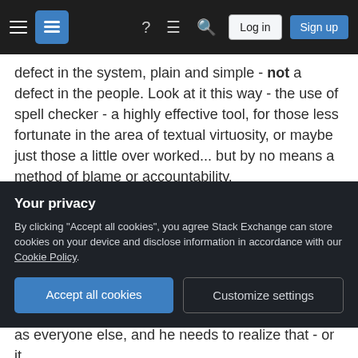Stack Exchange navigation bar with hamburger menu, logo, help icon, chat icon, search icon, Log in button, Sign up button
defect in the system, plain and simple - not a defect in the people. Look at it this way - the use of spell checker - a highly effective tool, for those less fortunate in the area of textual virtuosity, or maybe just those a little over worked... but by no means a method of blame or accountability.

A work environment, no matter what kind, or for what purpose it serves, is a system. A system made up of individual components, that if properly "in tune", works in total harmony - or some semblance of...
Your privacy
By clicking "Accept all cookies", you agree Stack Exchange can store cookies on your device and disclose information in accordance with our Cookie Policy.
Accept all cookies
Customize settings
as everyone else, and he needs to realize that - or it